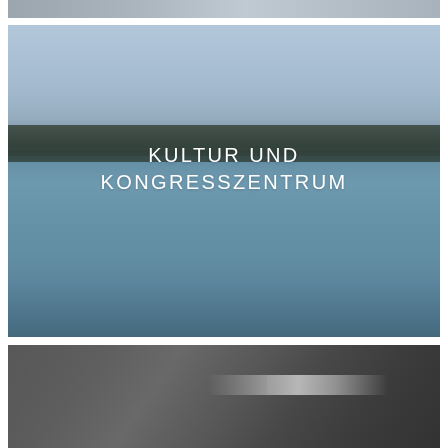[Figure (photo): Top partial photo, cropped view of an architectural or structural element]
[Figure (photo): Aerial/lakeside view of the Kultur und Kongresszentrum (Culture and Congress Centre) with mountains in background, lake in foreground, text overlay reading KULTUR UND KONGRESSZENTRUM]
KULTUR UND KONGRESSZENTRUM
[Figure (photo): Close-up photo of concrete or stone surface with diagonal architectural lines and a metallic element]